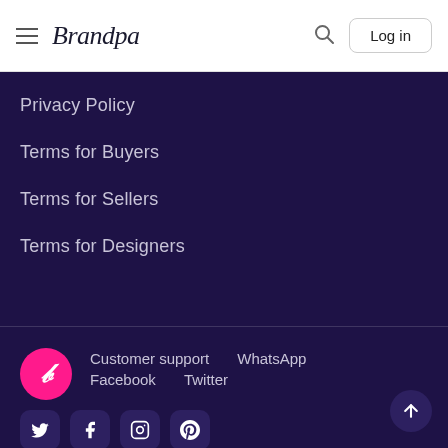Brandpa — Log in
Privacy Policy
Terms for Buyers
Terms for Sellers
Terms for Designers
Customer support   WhatsApp   Facebook   Twitter
Social icons: Twitter, Facebook, Instagram, Pinterest